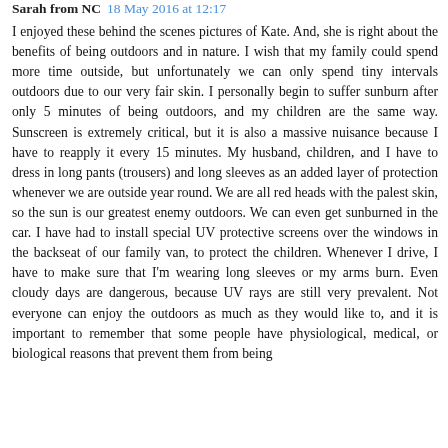Sarah from NC 18 May 2016 at 12:17
I enjoyed these behind the scenes pictures of Kate. And, she is right about the benefits of being outdoors and in nature. I wish that my family could spend more time outside, but unfortunately we can only spend tiny intervals outdoors due to our very fair skin. I personally begin to suffer sunburn after only 5 minutes of being outdoors, and my children are the same way. Sunscreen is extremely critical, but it is also a massive nuisance because I have to reapply it every 15 minutes. My husband, children, and I have to dress in long pants (trousers) and long sleeves as an added layer of protection whenever we are outside year round. We are all red heads with the palest skin, so the sun is our greatest enemy outdoors. We can even get sunburned in the car. I have had to install special UV protective screens over the windows in the backseat of our family van, to protect the children. Whenever I drive, I have to make sure that I'm wearing long sleeves or my arms burn. Even cloudy days are dangerous, because UV rays are still very prevalent. Not everyone can enjoy the outdoors as much as they would like to, and it is important to remember that some people have physiological, medical, or biological reasons that prevent them from being